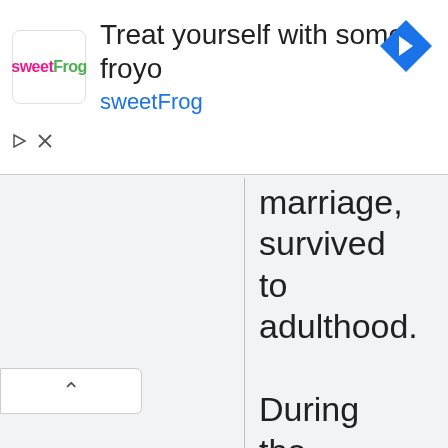[Figure (screenshot): sweetFrog frozen yogurt advertisement banner with logo, headline 'Treat yourself with some froyo', link text 'sweetFrog', navigation arrow icon, and ad control buttons]
marriage, survived to adulthood. During the minority of Charles VIII of France, Francis